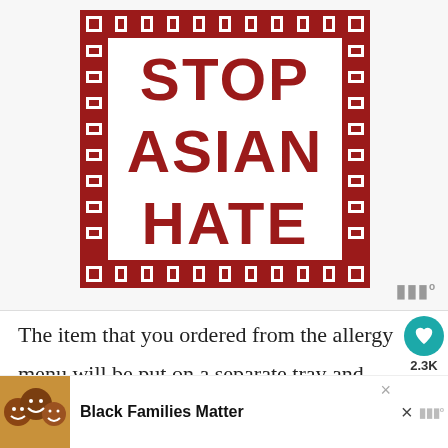[Figure (illustration): Stop Asian Hate poster — bold red serif/slab text 'STOP ASIAN HATE' on white background inside a decorative Chinese-pattern red border frame. The poster is shown embedded in a social-media screenshot interface with a watermark logo bottom-right.]
The item that you ordered from the allergy menu will be put on a separate tray and sometimes be delivered at a separate
[Figure (screenshot): Advertisement banner at bottom: photo of smiling Black family on left, text 'Black Families Matter' in bold, close (×) button and another × button on right, with watermark logo.]